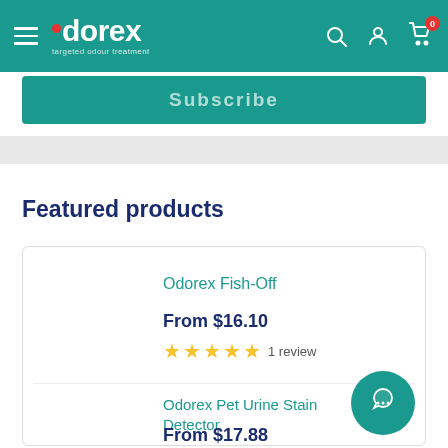Odorex - targeted odour treatment
Subscribe
Featured products
Odorex Fish-Off
From $16.10
1 review
Odorex Pet Urine Stain Detector
From $17.88
4 reviews